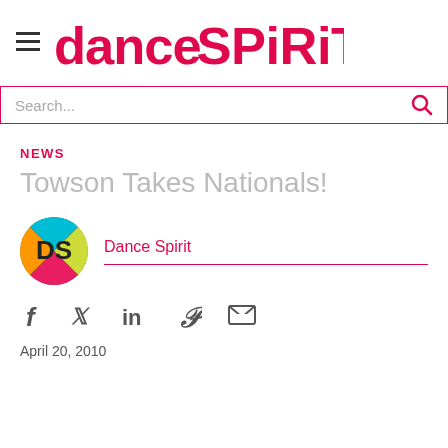Dance Spirit
Search...
NEWS
Towson Takes Nationals!
Dance Spirit
April 20, 2010